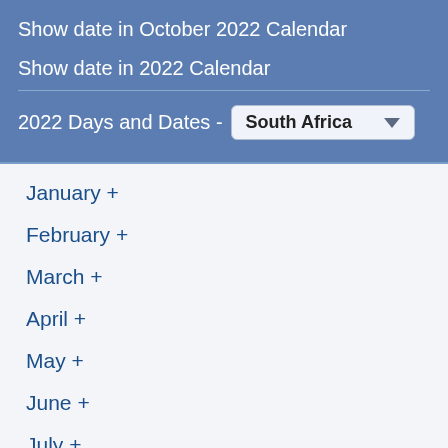Show date in October 2022 Calendar
Show date in 2022 Calendar
2022 Days and Dates - South Africa
January +
February +
March +
April +
May +
June +
July +
August +